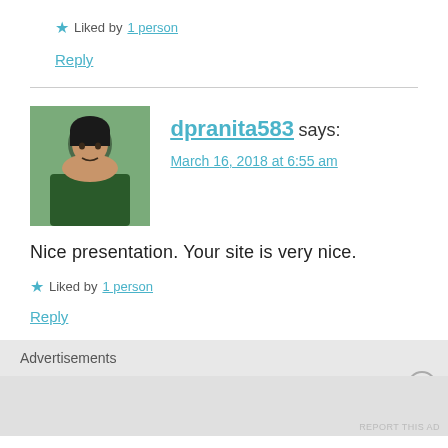★ Liked by 1 person
Reply
[Figure (photo): Avatar photo of dpranita583, a woman]
dpranita583 says:
March 16, 2018 at 6:55 am
Nice presentation. Your site is very nice.
★ Liked by 1 person
Reply
Advertisements